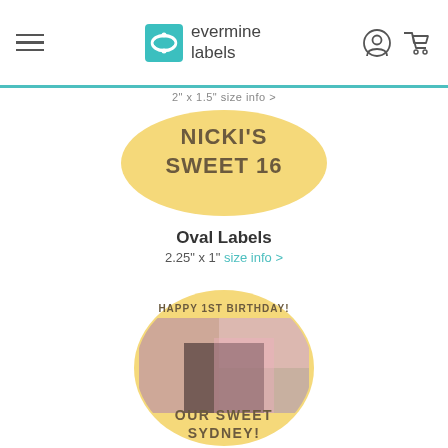evermine labels
2" x 1.5" size info >
[Figure (illustration): Yellow oval label with text NICKI'S SWEET 16 in dark brown decorative font]
Oval Labels
2.25" x 1" size info >
[Figure (illustration): Tall yellow oval label with photo of baby girl and text HAPPY 1ST BIRTHDAY! at top and OUR SWEET SYDNEY! at bottom]